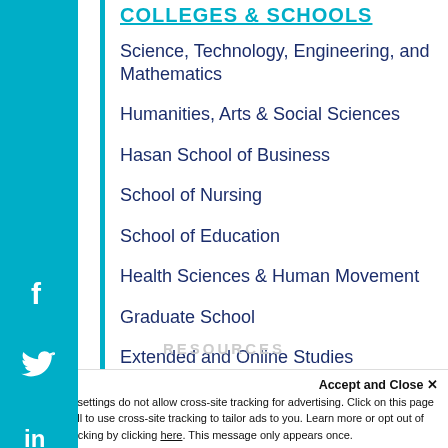COLLEGES & SCHOOLS
Science, Technology, Engineering, and Mathematics
Humanities, Arts & Social Sciences
Hasan School of Business
School of Nursing
School of Education
Health Sciences & Human Movement
Graduate School
Extended and Online Studies
RESOURCES
Accept and Close ×
Your browser settings do not allow cross-site tracking for advertising. Click on this page to allow AdRoll to use cross-site tracking to tailor ads to you. Learn more or opt out of this AdRoll tracking by clicking here. This message only appears once.